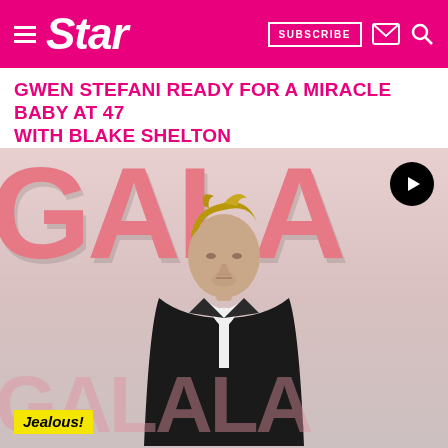Star — SUBSCRIBE
GWEN STEFANI READY FOR A MIRACLE BABY AT 47 WITH BLAKE SHELTON
[Figure (photo): Man in black suit with white shirt standing in front of pink GALA lettering backdrop. Video play icon in top right corner.]
Jealous!